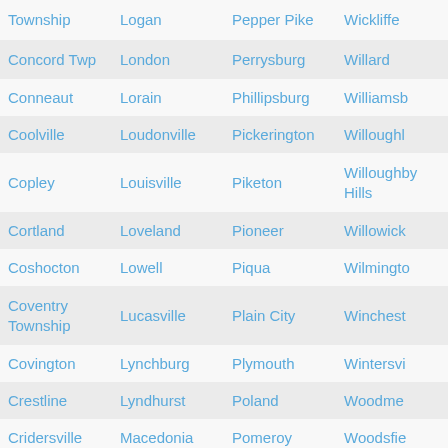| Township | Logan | Pepper Pike | Wickliffe |
| Concord Twp | London | Perrysburg | Willard |
| Conneaut | Lorain | Phillipsburg | Williamsburg |
| Coolville | Loudonville | Pickerington | Willoughby |
| Copley | Louisville | Piketon | Willoughby Hills |
| Cortland | Loveland | Pioneer | Willowick |
| Coshocton | Lowell | Piqua | Wilmington |
| Coventry Township | Lucasville | Plain City | Winchester |
| Covington | Lynchburg | Plymouth | Wintersville |
| Crestline | Lyndhurst | Poland | Woodmere |
| Cridersville | Macedonia | Pomeroy | Woodsfield |